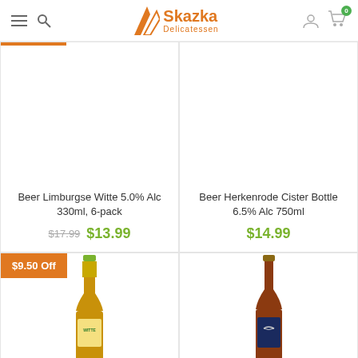Skazka Delicatessen
Beer Limburgse Witte 5.0% Alc 330ml, 6-pack — was $17.99, now $13.99
Beer Herkenrode Cister Bottle 6.5% Alc 750ml — $14.99
$9.50 Off — second product card (bottom left)
[Figure (photo): Beer bottle in bottom-left product card]
[Figure (photo): Beer bottle in bottom-right product card]